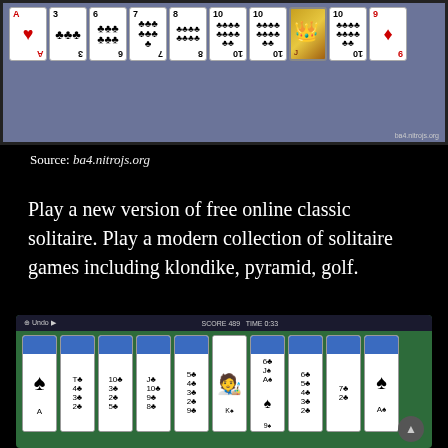[Figure (screenshot): Screenshot of a spider solitaire card game with playing cards displayed on a blue-gray background]
Source: ba4.nitrojs.org
Play a new version of free online classic solitaire. Play a modern collection of solitaire games including klondike, pyramid, golf.
[Figure (screenshot): Screenshot of a spider solitaire game on green felt background showing score 489 and time 0:33]